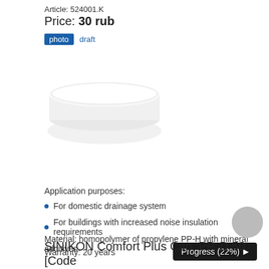Article: 524001.K
Price: 30 rub
photo  draft
[Figure (photo): White circular cap/plug product photo on white background]
Progress (22%)
Application purposes:
For domestic drainage system
For buildings with increased noise insulation requirements
Material: homopolymer of propylene PP-H with mineral additives
Warranty: 20 years
Coefficient of linear expansion: 0,15 mm/m °C
Maximum working temperature: +80 °C
Details
SINIKON Comfort Plus Cap, PP, D 50 [Code 524001.K]